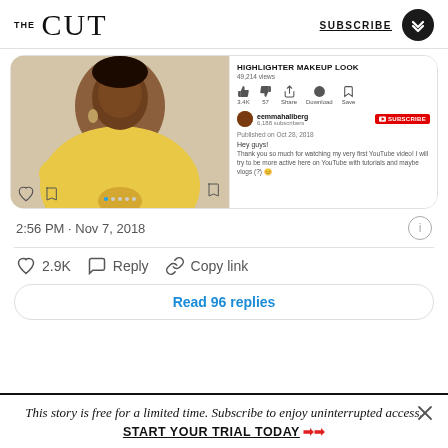THE CUT | SUBSCRIBE
[Figure (screenshot): Screenshot of a tweet showing a YouTube video embed of 'Highlighter Makeup Look' with 49,214 views, channel eemmahallberg with 6,188 subscribers, published Oct 28, 2018. The photo shows a woman in a yellow off-shoulder top.]
2:56 PM · Nov 7, 2018
2.9K  Reply  Copy link
Read 96 replies
This story is free for a limited time. Subscribe to enjoy uninterrupted access. START YOUR TRIAL TODAY ▶▶